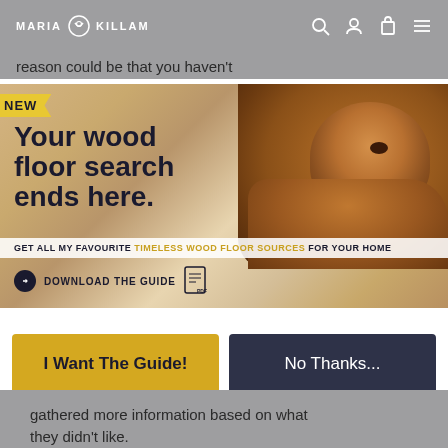MARIA KILLAM
reason could be that you haven't
[Figure (infographic): Wood floor guide advertisement banner with a golden doodle puppy lying on hardwood floor. Features 'NEW' badge in yellow, large headline 'Your wood floor search ends here.', a sub-strip reading 'GET ALL MY FAVOURITE TIMELESS WOOD FLOOR SOURCES FOR YOUR HOME', and a 'DOWNLOAD THE GUIDE' button with PDF icon.]
I Want The Guide!
No Thanks...
gathered more information based on what they didn't like.